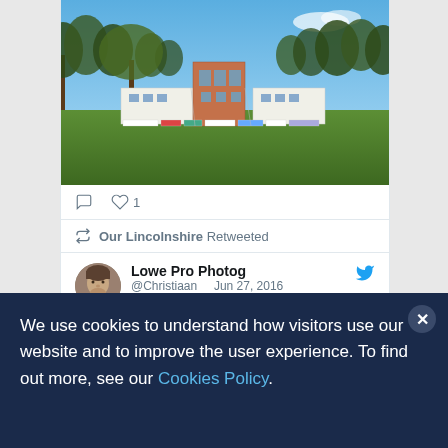[Figure (photo): Photograph of a building under construction with a central brick section flanked by white wings, set on a green lawn with trees in the background under a blue sky. Various sponsor banners visible along the front.]
♡ 1
Our Lincolnshire Retweeted
Lowe Pro Photog
@Christiaan    Jun 27, 2016
We use cookies to understand how visitors use our website and to improve the user experience. To find out more, see our Cookies Policy.